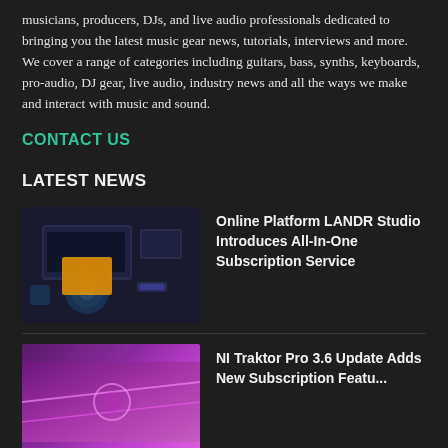musicians, producers, DJs, and live audio professionals dedicated to bringing you the latest music gear news, tutorials, interviews and more. We cover a range of categories including guitars, bass, synths, keyboards, pro-audio, DJ gear, live audio, industry news and all the ways we make and interact with music and sound.
CONTACT US
LATEST NEWS
[Figure (photo): Person in yellow jacket working at a computer workstation with multiple monitors in a dark studio environment]
Online Platform LANDR Studio Introduces All-In-One Subscription Service
[Figure (photo): Abstract colorful image with pink and purple neon colors, suggesting DJ or electronic music equipment]
NI Traktor Pro 3.6 Update Adds New Subscription Featu...